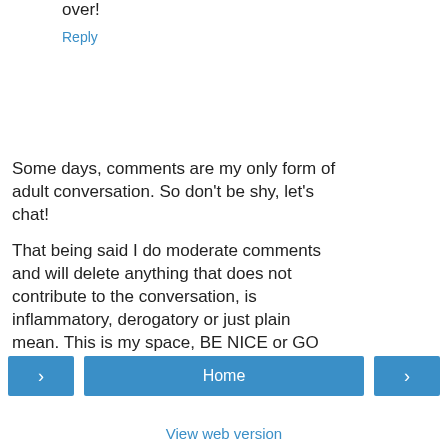over!
Reply
Some days, comments are my only form of adult conversation. So don't be shy, let's chat!
That being said I do moderate comments and will delete anything that does not contribute to the conversation, is inflammatory, derogatory or just plain mean. This is my space, BE NICE or GO HOME.
Home
View web version